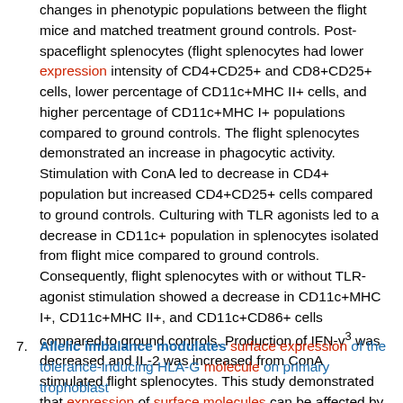changes in phenotypic populations between the flight mice and matched treatment ground controls. Post-spaceflight splenocytes (flight splenocytes had lower expression intensity of CD4+CD25+ and CD8+CD25+ cells, lower percentage of CD11c+MHC II+ cells, and higher percentage of CD11c+MHC I+ populations compared to ground controls. The flight splenocytes demonstrated an increase in phagocytic activity. Stimulation with ConA led to decrease in CD4+ population but increased CD4+CD25+ cells compared to ground controls. Culturing with TLR agonists led to a decrease in CD11c+ population in splenocytes isolated from flight mice compared to ground controls. Consequently, flight splenocytes with or without TLR-agonist stimulation showed a decrease in CD11c+MHC I+, CD11c+MHC II+, and CD11c+CD86+ cells compared to ground controls. Production of IFN-γ was decreased and IL-2 was increased from ConA stimulated flight splenocytes. This study demonstrated that expression of surface molecules can be affected by conditions of spaceflight and impaired responsiveness persists under
7. Allelic imbalance modulates surface expression of the tolerance-inducing HLA-G molecule on primary trophoblast